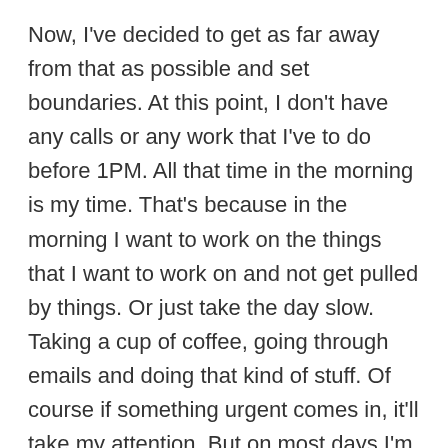Now, I've decided to get as far away from that as possible and set boundaries. At this point, I don't have any calls or any work that I've to do before 1PM. All that time in the morning is my time. That's because in the morning I want to work on the things that I want to work on and not get pulled by things. Or just take the day slow. Taking a cup of coffee, going through emails and doing that kind of stuff. Of course if something urgent comes in, it'll take my attention. But on most days I'm able to get myself and other people to respect the boundaries I've set.
Another rule I have is that I only take calls on Tuesdays and Thursdays. Other days...